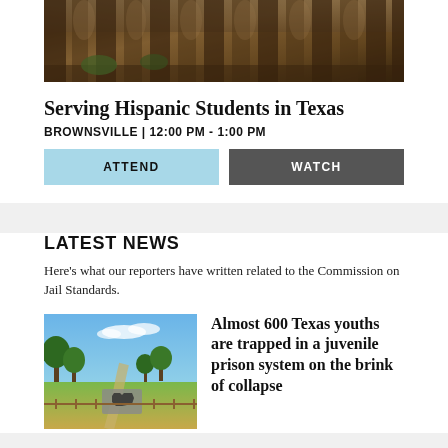[Figure (photo): Archway corridor of a brick building, likely a historic Texas building]
Serving Hispanic Students in Texas
BROWNSVILLE | 12:00 PM - 1:00 PM
ATTEND
WATCH
LATEST NEWS
Here's what our reporters have written related to the Commission on Jail Standards.
[Figure (photo): Outdoor scene with trees, grass, and a Texas state sign]
Almost 600 Texas youths are trapped in a juvenile prison system on the brink of collapse